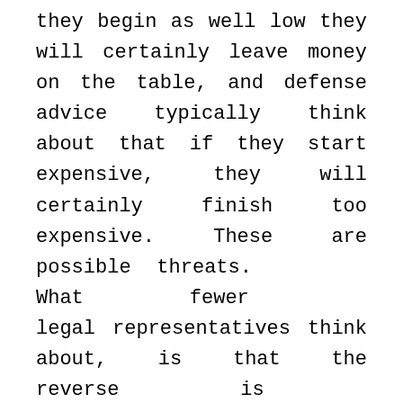they begin as well low they will certainly leave money on the table, and defense advice typically think about that if they start expensive, they will certainly finish too expensive. These are possible threats. What fewer legal representatives think about, is that the reverse is likewise a risk. If complainants' advise begin monetary negotiations at numbers that are far too expensive, they can wind up with worse deals than if they had actually started at lower numbers. They can additionally wind up without any offers whatsoever. Starting a mathematical settlement too away from where you wish to end will usually lead the other side to start with a